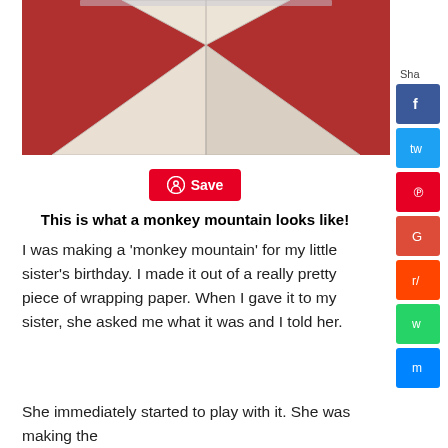[Figure (photo): A folded piece of paper forming a triangular 'monkey mountain' shape on a red background, viewed from above. The paper appears white/beige with fold lines visible.]
Save
This is what a monkey mountain looks like!
I was making a 'monkey mountain' for my little sister's birthday. I made it out of a really pretty piece of wrapping paper. When I gave it to my sister, she asked me what it was and I told her.
She immediately started to play with it. She was making the